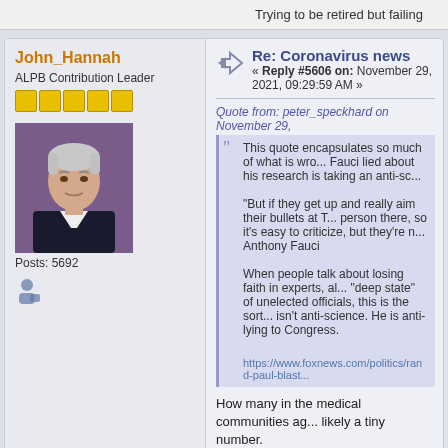Trying to be retired but failing
John_Hannah
ALPB Contribution Leader
[Figure (photo): Profile photo of John_Hannah, older man with gray hair against purple background]
Posts: 5692
Re: Coronavirus news
« Reply #5606 on: November 29, 2021, 09:29:59 AM »
Quote from: peter_speckhard on November 29,
This quote encapsulates so much of what is wrong... Fauci lied about his research is taking an anti-sc...
"But if they get up and really aim their bullets at T... person there, so it's easy to criticize, but they're r... Anthony Fauci
When people talk about losing faith in experts, al... "deep state" of unelected officials, this is the sort... isn't anti-science. He is anti-lying to Congress.
https://www.foxnews.com/politics/rand-paul-blast...
How many in the medical communities ag... likely a tiny number.
Peace, JOHN